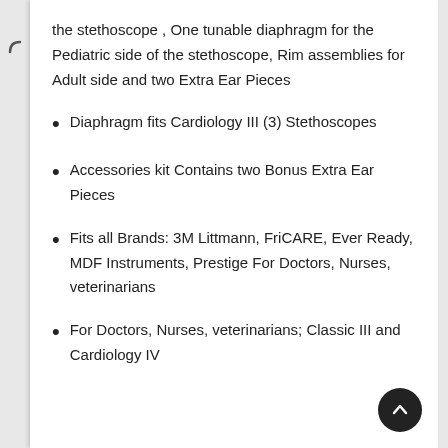the stethoscope , One tunable diaphragm for the Pediatric side of the stethoscope, Rim assemblies for Adult side and two Extra Ear Pieces
Diaphragm fits Cardiology III (3) Stethoscopes
Accessories kit Contains two Bonus Extra Ear Pieces
Fits all Brands: 3M Littmann, FriCARE, Ever Ready, MDF Instruments, Prestige For Doctors, Nurses, veterinarians
For Doctors, Nurses, veterinarians; Classic III and Cardiology IV